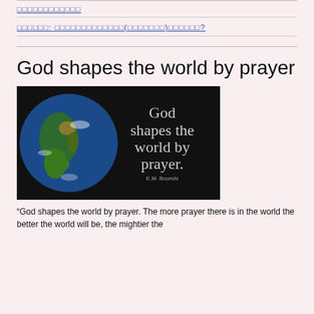□□□□□□□□□□□□
□□□□□□: □□□□□□□□□□□□□(□□□□□□□)□□□□□□?
God shapes the world by prayer
[Figure (illustration): Black background image with a globe showing Earth on the left and text on the right reading: God shapes the world by prayer. E.M. Bounds]
“God shapes the world by prayer. The more prayer there is in the world the better the world will be, the mightier the